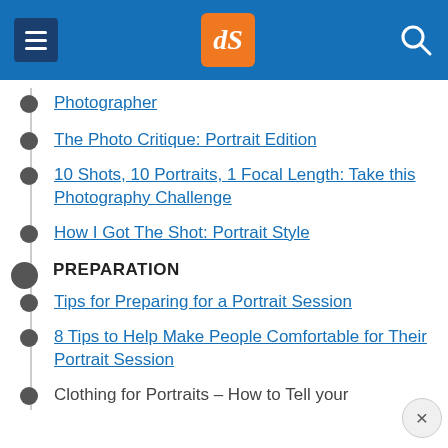dPS navigation header
Photographer
The Photo Critique: Portrait Edition
10 Shots, 10 Portraits, 1 Focal Length: Take this Photography Challenge
How I Got The Shot: Portrait Style
PREPARATION
Tips for Preparing for a Portrait Session
8 Tips to Help Make People Comfortable for Their Portrait Session
Clothing for Portraits – How to Tell your